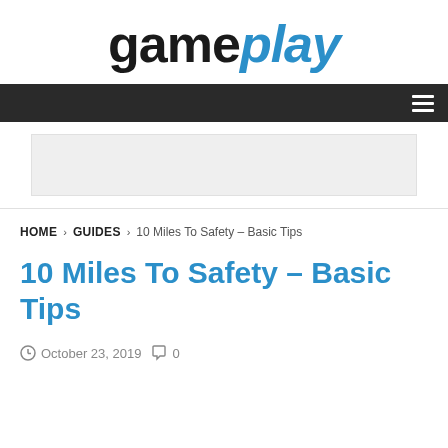[Figure (logo): gameplay logo with 'game' in black bold and 'play' in blue italic bold]
Navigation bar with hamburger menu icon
[Figure (other): Gray advertisement banner placeholder]
HOME > GUIDES > 10 Miles To Safety – Basic Tips
10 Miles To Safety – Basic Tips
October 23, 2019   0